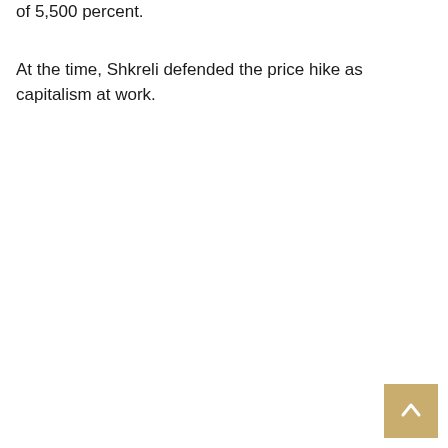of 5,500 percent.
At the time, Shkreli defended the price hike as capitalism at work.